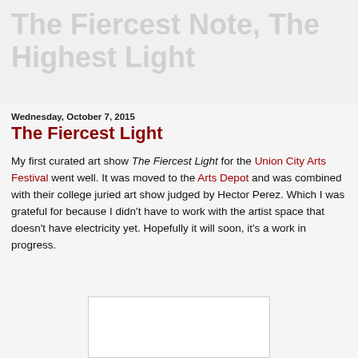The Fiercest Note, The Highest Light
Wednesday, October 7, 2015
The Fiercest Light
My first curated art show The Fiercest Light for the Union City Arts Festival went well. It was moved to the Arts Depot and was combined with their college juried art show judged by Hector Perez. Which I was grateful for because I didn't have to work with the artist space that doesn't have electricity yet. Hopefully it will soon, it's a work in progress.
[Figure (photo): White rectangular image placeholder at bottom of page]